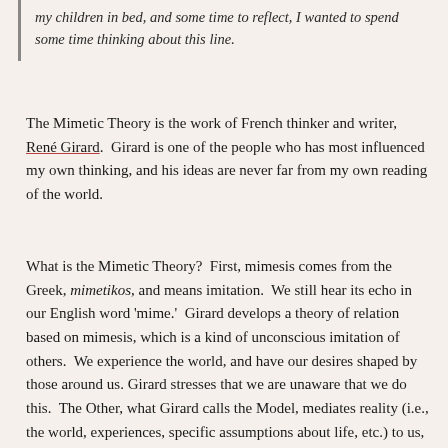my children in bed, and some time to reflect, I wanted to spend some time thinking about this line.
The Mimetic Theory is the work of French thinker and writer, René Girard. Girard is one of the people who has most influenced my own thinking, and his ideas are never far from my own reading of the world.
What is the Mimetic Theory? First, mimesis comes from the Greek, mimetikos, and means imitation. We still hear its echo in our English word 'mime.' Girard develops a theory of relation based on mimesis, which is a kind of unconscious imitation of others. We experience the world, and have our desires shaped by those around us. Girard stresses that we are unaware that we do this. The Other, what Girard calls the Model, mediates reality (i.e., the world, experiences, specific assumptions about life, etc.) to us, to the subject. As humans we are constituted by